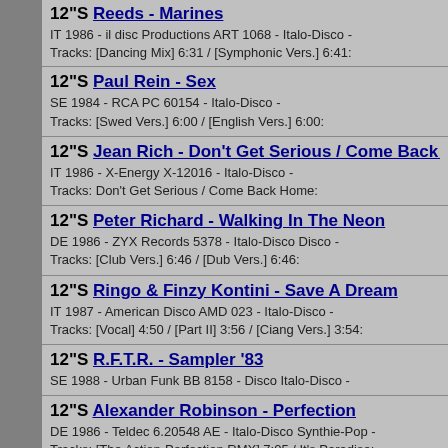12"S Reeds - Marines
IT 1986 - il disc Productions ART 1068 - Italo-Disco -
Tracks: [Dancing Mix] 6:31 / [Symphonic Vers.] 6:41:
12"S Paul Rein - Sex
SE 1984 - RCA PC 60154 - Italo-Disco -
Tracks: [Swed Vers.] 6:00 / [English Vers.] 6:00:
12"S Jean Rich - Don't Get Serious / Come Back Home
IT 1986 - X-Energy X-12016 - Italo-Disco -
Tracks: Don't Get Serious / Come Back Home:
12"S Peter Richard - Walking In The Neon
DE 1986 - ZYX Records 5378 - Italo-Disco Disco -
Tracks: [Club Vers.] 6:46 / [Dub Vers.] 6:46:
12"S Ringo & Finzy Kontini - Save A Dream
IT 1987 - American Disco AMD 023 - Italo-Disco -
Tracks: [Vocal] 4:50 / [Part II] 3:56 / [Ciang Vers.] 3:54:
12"S R.F.T.R. - Sampler '83
SE 1988 - Urban Funk BB 8158 - Disco Italo-Disco -
12"S Alexander Robinson - Perfection
DE 1986 - Teldec 6.20548 AE - Italo-Disco Synthie-Pop -
Tracks: [The Action-Perfection RMX] 7:05 / It's Paradise:
12"S Rose - Memories
IT 1986 - Media Records MDR 504 - Italo-Disco -
Tracks: [Vocal Version] 6:20 / [Instrumental Version] 6:00: